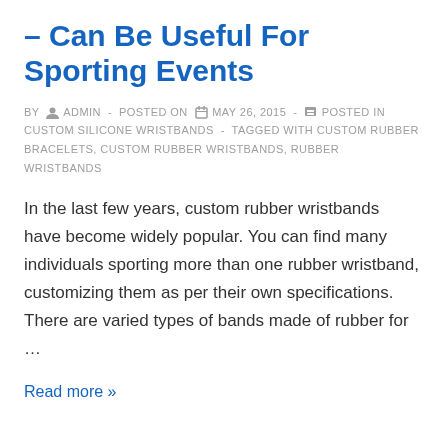– Can Be Useful For Sporting Events
BY ADMIN - POSTED ON MAY 26, 2015 - POSTED IN CUSTOM SILICONE WRISTBANDS - TAGGED WITH CUSTOM RUBBER BRACELETS, CUSTOM RUBBER WRISTBANDS, RUBBER WRISTBANDS
In the last few years, custom rubber wristbands have become widely popular. You can find many individuals sporting more than one rubber wristband, customizing them as per their own specifications. There are varied types of bands made of rubber for …
Read more »